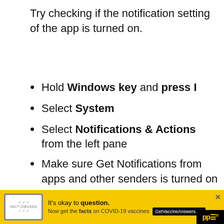Try checking if the notification setting of the app is turned on.
Hold Windows key and press I
Select System
Select Notifications & Actions from the left pane
Make sure Get Notifications from apps and other senders is turned on
Scroll down and have a look at the
[Figure (screenshot): Yellow advertisement banner for 'It's okay to question' COVID-19 vaccine facts at GetVaccineAnswers.org, with a close button (X) in the top right corner and a partial logo at the bottom right.]